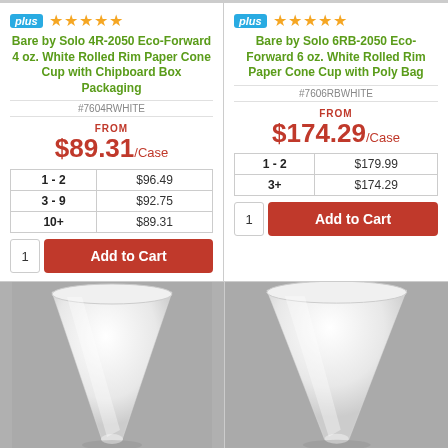[Figure (screenshot): Plus badge and 5 gold stars rating for product 1]
Bare by Solo 4R-2050 Eco-Forward 4 oz. White Rolled Rim Paper Cone Cup with Chipboard Box Packaging
#7604RWHITE
FROM $89.31/Case
| Qty | Price |
| --- | --- |
| 1 - 2 | $96.49 |
| 3 - 9 | $92.75 |
| 10+ | $89.31 |
Add to Cart
[Figure (screenshot): Plus badge and 5 gold stars rating for product 2]
Bare by Solo 6RB-2050 Eco-Forward 6 oz. White Rolled Rim Paper Cone Cup with Poly Bag
#7606RBWHITE
FROM $174.29/Case
| Qty | Price |
| --- | --- |
| 1 - 2 | $179.99 |
| 3+ | $174.29 |
Add to Cart
[Figure (photo): White paper cone cup on grey background, left product]
[Figure (photo): White paper cone cup on grey background, right product]